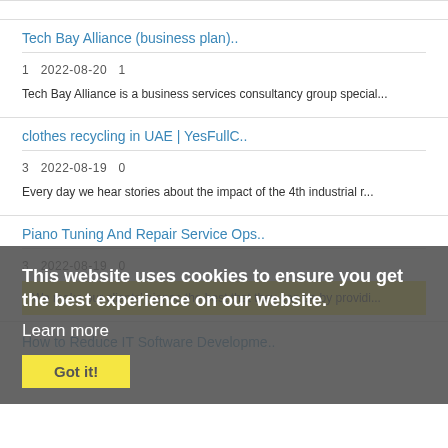Tech Bay Alliance (business plan)..
1   2022-08-20   1
Tech Bay Alliance is a business services consultancy group special...
clothes recycling in UAE | YesFullC..
3   2022-08-19   0
Every day we hear stories about the impact of the 4th industrial r...
Piano Tuning And Repair Service Ops..
3   2022-08-19   0
We make our clients' pianos the best that they can be by providi...
How to Reduce IT Software Developme..
This website uses cookies to ensure you get the best experience on our website.
Learn more
Got it!